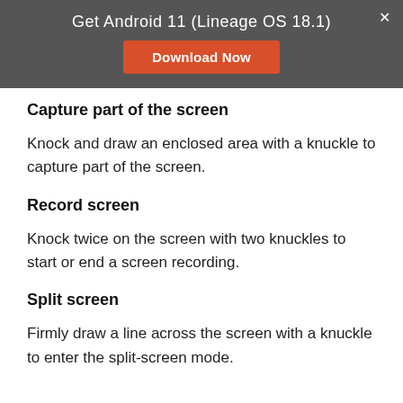Get Android 11 (Lineage OS 18.1)
Capture part of the screen
Knock and draw an enclosed area with a knuckle to capture part of the screen.
Record screen
Knock twice on the screen with two knuckles to start or end a screen recording.
Split screen
Firmly draw a line across the screen with a knuckle to enter the split-screen mode.